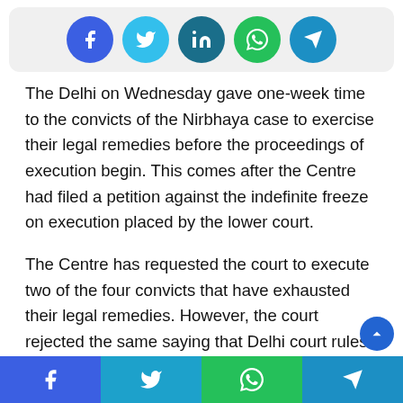[Figure (other): Social media share buttons row: Facebook (blue circle), Twitter (light blue circle), LinkedIn (teal circle), WhatsApp (green circle), Telegram (blue circle)]
The Delhi on Wednesday gave one-week time to the convicts of the Nirbhaya case to exercise their legal remedies before the proceedings of execution begin. This comes after the Centre had filed a petition against the indefinite freeze on execution placed by the lower court.
The Centre has requested the court to execute two of the four convicts that have exhausted their legal remedies. However, the court rejected the same saying that Delhi court rules don't allow separate execution of the convicts who have been convicted for the same crime.
[Figure (other): Bottom share bar with four buttons: Facebook (blue), Twitter (cyan), WhatsApp (green), Telegram (teal)]